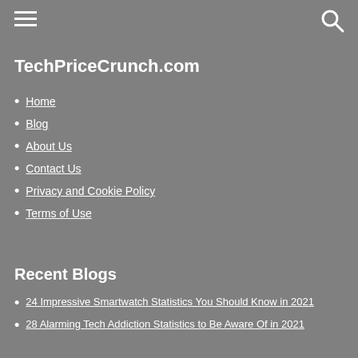TechPriceCrunch.com
Home
Blog
About Us
Contact Us
Privacy and Cookie Policy
Terms of Use
Recent Blogs
24 Impressive Smartwatch Statistics You Should Know in 2021
28 Alarming Tech Addiction Statistics to Be Aware Of in 2021